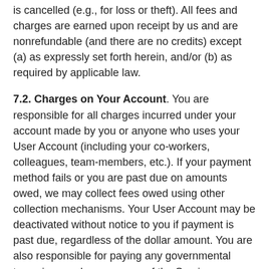is cancelled (e.g., for loss or theft). All fees and charges are earned upon receipt by us and are nonrefundable (and there are no credits) except (a) as expressly set forth herein, and/or (b) as required by applicable law.
7.2. Charges on Your Account. You are responsible for all charges incurred under your account made by you or anyone who uses your User Account (including your co-workers, colleagues, team-members, etc.). If your payment method fails or you are past due on amounts owed, we may collect fees owed using other collection mechanisms. Your User Account may be deactivated without notice to you if payment is past due, regardless of the dollar amount. You are also responsible for paying any governmental taxes imposed on your use of the Service, including, but not limited to, sales, use, or value-added taxes. To the extent Nuage is obligated to collect such taxes, the applicable tax will be added to your billing account.
7.3. Payment Authorization. Authorization to charge your